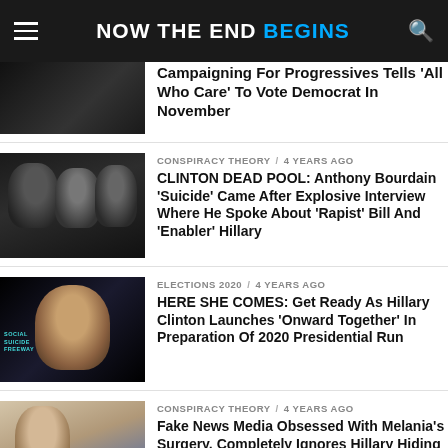NOW THE END BEGINS
Campaigning For Progressives Tells 'All Who Care' To Vote Democrat In November
CONSPIRACY THEORY / 4 years ago
CLINTON DEAD POOL: Anthony Bourdain 'Suicide' Came After Explosive Interview Where He Spoke About 'Rapist' Bill And 'Enabler' Hillary
ELECTIONS 2020 / 4 years ago
HERE SHE COMES: Get Ready As Hillary Clinton Launches 'Onward Together' In Preparation Of 2020 Presidential Run
CONSPIRACY THEORY / 4 years ago
Fake News Media Obsessed With Melania's Surgery, Completely Ignores Hillary Hiding Medical Equipment Under Her Bulky Pantsuit